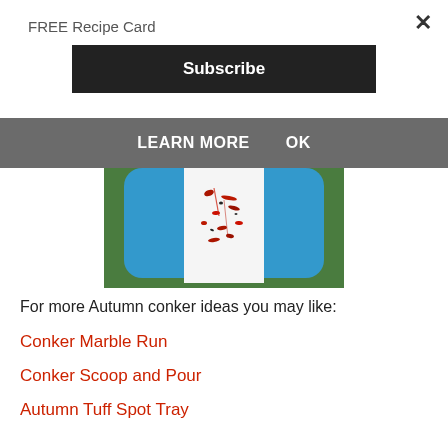FREE Recipe Card
Subscribe
LEARN MORE   OK
[Figure (photo): Aerial view of a blue plastic tray on grass with white paper inside marked with red and black conker paint splatter marks]
For more Autumn conker ideas you may like:
Conker Marble Run
Conker Scoop and Pour
Autumn Tuff Spot Tray